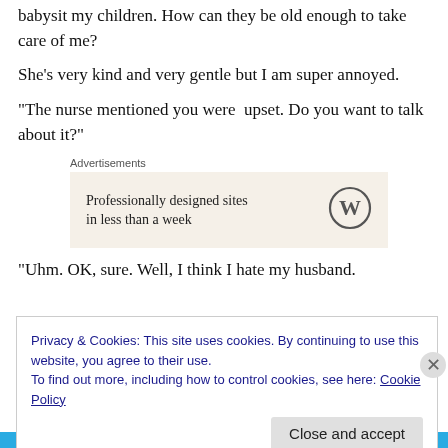babysit my children. How can they be old enough to take care of me?
She's very kind and very gentle but I am super annoyed.
“The nurse mentioned you were  upset. Do you want to talk about it?”
[Figure (other): WordPress advertisement: 'Professionally designed sites in less than a week' with WordPress logo]
“Uhm. OK, sure. Well, I think I hate my husband.
Privacy & Cookies: This site uses cookies. By continuing to use this website, you agree to their use.
To find out more, including how to control cookies, see here: Cookie Policy